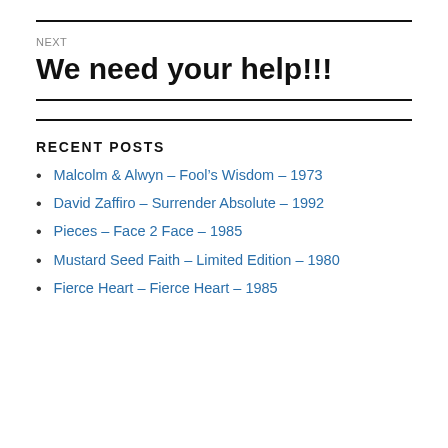NEXT
We need your help!!!
RECENT POSTS
Malcolm & Alwyn – Fool's Wisdom – 1973
David Zaffiro – Surrender Absolute – 1992
Pieces – Face 2 Face – 1985
Mustard Seed Faith – Limited Edition – 1980
Fierce Heart – Fierce Heart – 1985